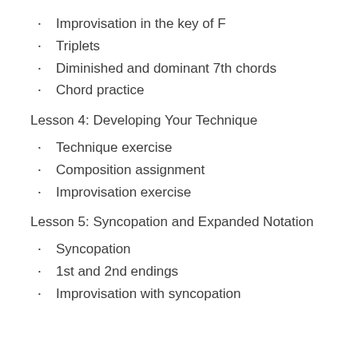Improvisation in the key of F
Triplets
Diminished and dominant 7th chords
Chord practice
Lesson 4: Developing Your Technique
Technique exercise
Composition assignment
Improvisation exercise
Lesson 5: Syncopation and Expanded Notation
Syncopation
1st and 2nd endings
Improvisation with syncopation